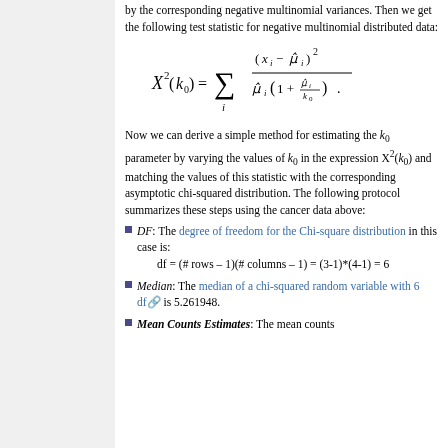by the corresponding negative multinomial variances. Then we get the following test statistic for negative multinomial distributed data:
Now we can derive a simple method for estimating the k_0 parameter by varying the values of k_0 in the expression X^2(k_0) and matching the values of this statistic with the corresponding asymptotic chi-squared distribution. The following protocol summarizes these steps using the cancer data above:
DF: The degree of freedom for the Chi-square distribution in this case is: df = (# rows − 1)(# columns − 1) = (3-1)*(4-1) = 6
Median: The median of a chi-squared random variable with 6 df is 5.261948.
Mean Counts Estimates: The mean counts